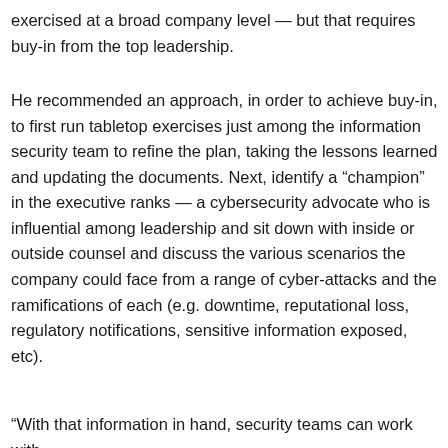exercised at a broad company level — but that requires buy-in from the top leadership.
He recommended an approach, in order to achieve buy-in, to first run tabletop exercises just among the information security team to refine the plan, taking the lessons learned and updating the documents. Next, identify a “champion” in the executive ranks — a cybersecurity advocate who is influential among leadership and sit down with inside or outside counsel and discuss the various scenarios the company could face from a range of cyber-attacks and the ramifications of each (e.g. downtime, reputational loss, regulatory notifications, sensitive information exposed, etc).
“With that information in hand, security teams can work with